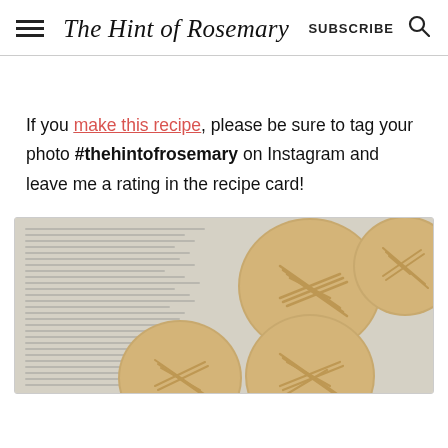The Hint of Rosemary | SUBSCRIBE | [search icon]
If you make this recipe, please be sure to tag your photo #thehintofrosemary on Instagram and leave me a rating in the recipe card!
[Figure (photo): Photo of peanut butter cookies with fork cross-hatch marks, placed on newspaper, viewed from above. Multiple round cookies visible.]